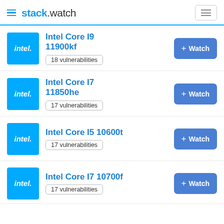stack.watch
Intel Core I9 11900kf — 18 vulnerabilities
Intel Core I7 11850he — 17 vulnerabilities
Intel Core I5 10600t — 17 vulnerabilities
Intel Core I7 10700f — 17 vulnerabilities